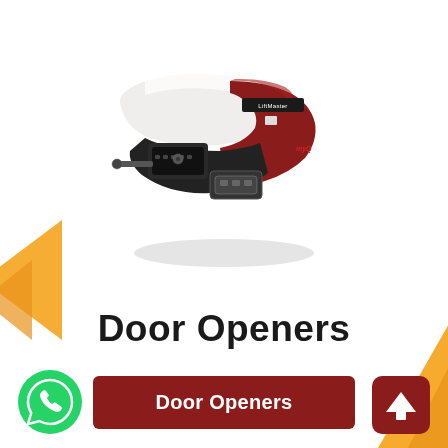[Figure (photo): LiftMaster garage door opener unit, white and red colored, shown in perspective/angled view]
Door Openers
[Figure (illustration): Dark red rounded rectangle button with white text 'Door Openers']
[Figure (illustration): Green WhatsApp circular logo button at bottom left]
[Figure (illustration): Dark red rounded square button with white up arrow at bottom right]